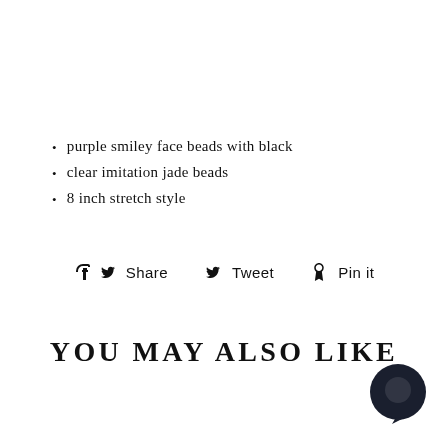purple smiley face beads with black
clear imitation jade beads
8 inch stretch style
Share   Tweet   Pin it
YOU MAY ALSO LIKE
[Figure (illustration): Dark circular chat bubble icon in bottom right corner]